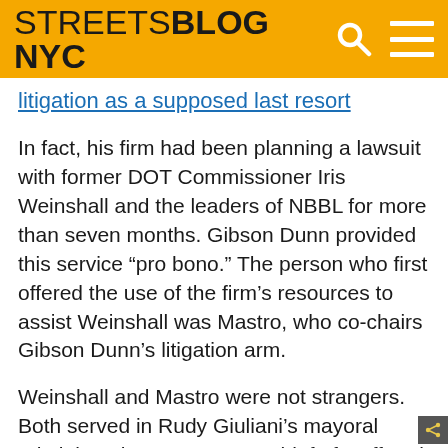STREETSBLOG NYC
litigation as a supposed last resort.
In fact, his firm had been planning a lawsuit with former DOT Commissioner Iris Weinshall and the leaders of NBBL for more than seven months. Gibson Dunn provided this service “pro bono.” The person who first offered the use of the firm’s resources to assist Weinshall was Mastro, who co-chairs Gibson Dunn’s litigation arm.
Weinshall and Mastro were not strangers. Both served in Rudy Giuliani’s mayoral administration – Mastro as chief of staff and later first deputy mayor, Weinshall as a high-ranking official in the Department of Citywide Administrative Services and then as DOT commissioner.